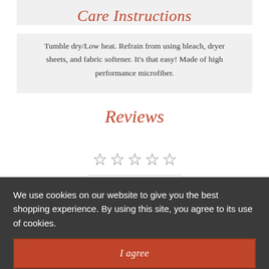Care Instructions
Tumble dry/Low heat. Refrain from using bleach, dryer sheets, and fabric softener. It's that easy! Made of high performance microfiber.
Reviews
[Figure (other): Five empty star rating icons in a row]
Write a Review
We use cookies on our website to give you the best shopping experience. By using this site, you agree to its use of cookies.
I agree
[Figure (other): Partial row of filled dark star icons at bottom]